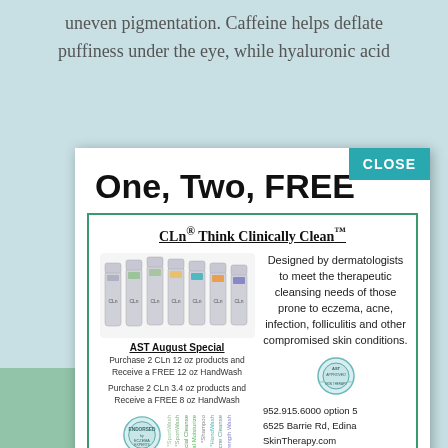uneven pigmentation. Caffeine helps deflate puffiness under the eye, while hyaluronic acid
One, Two, FREE
[Figure (infographic): CLn advertisement box with product bottles, AST August Special promotions, dermatologist description, award badge, contact info and social media handles]
CLOSE
952.915.6000 option 5
6525 Barrie Rd, Edina
SkinTherapy.com
@adciast @adciast